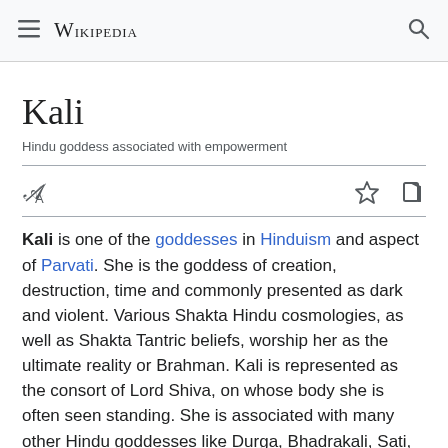≡ WIKIPEDIA 🔍
Kali
Hindu goddess associated with empowerment
Kali is one of the goddesses in Hinduism and aspect of Parvati. She is the goddess of creation, destruction, time and commonly presented as dark and violent. Various Shakta Hindu cosmologies, as well as Shakta Tantric beliefs, worship her as the ultimate reality or Brahman. Kali is represented as the consort of Lord Shiva, on whose body she is often seen standing. She is associated with many other Hindu goddesses like Durga, Bhadrakali, Sati, Rudrani, Parvati and Chamunda. She is the foremost among the Dasa Mahavidyas, ten fierce Tantric